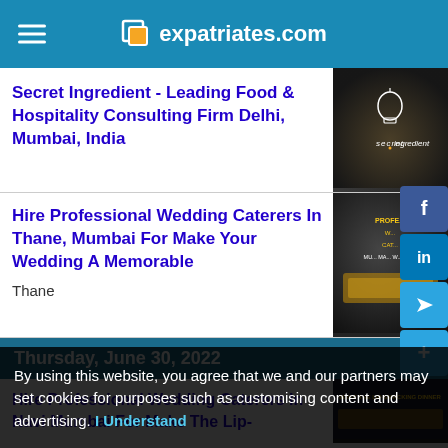expatriates.com
Secret Ingredient - Leading Food & Hospitality Consulting Firm Delhi, Mumbai, India
[Figure (photo): Dark background image with Secret Ingredient logo and food dish]
Hire Professional Wedding Caterers In Thane, Mumbai For Make Your Wedding A Memorable
Thane
[Figure (photo): Dark image showing professional wedding catering service with food buffet setup]
Thursday, June 30, 2022
Hire Professional Wedding Caterers In Navi Mumbai For Make The Lip-
[Figure (photo): Bottom partial image of catering service]
By using this website, you agree that we and our partners may set cookies for purposes such as customising content and advertising. I Understand